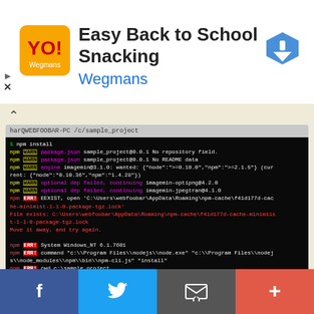[Figure (screenshot): Wegmans advertisement banner with logo, 'Easy Back to School Snacking' title, and navigation arrow icon]
[Figure (screenshot): Terminal/command prompt window showing npm install output with WARN and ERR messages in color on black background]
Note: if ever one or all the image tools software
failed to install, temporarily disable the antivirus
[Figure (screenshot): Social media sharing bar with Facebook, Twitter, Email, and Plus buttons]